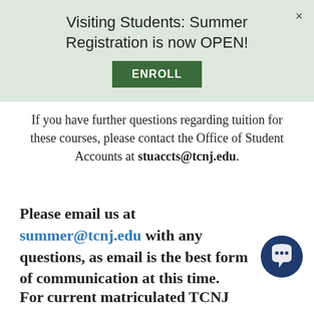Visiting Students: Summer Registration is now OPEN!
[Figure (screenshot): Green ENROLL button]
If you have further questions regarding tuition for these courses, please contact the Office of Student Accounts at stuaccts@tcnj.edu.
Please email us at summer@tcnj.edu with any questions, as email is the best form of communication at this time.
For current matriculated TCNJ